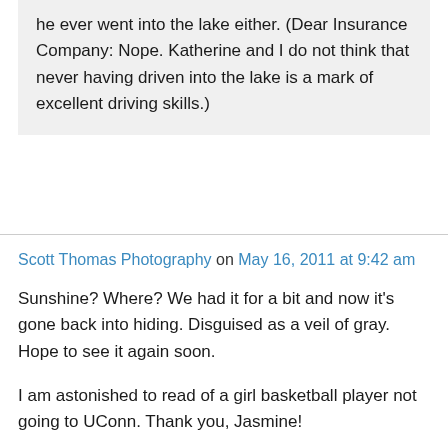he ever went into the lake either. (Dear Insurance Company: Nope. Katherine and I do not think that never having driven into the lake is a mark of excellent driving skills.)
Scott Thomas Photography on May 16, 2011 at 9:42 am
Sunshine? Where? We had it for a bit and now it's gone back into hiding. Disguised as a veil of gray. Hope to see it again soon.
I am astonished to read of a girl basketball player not going to UConn. Thank you, Jasmine!